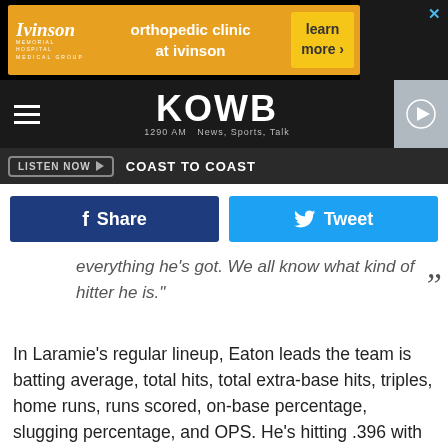[Figure (screenshot): Ivinson Memorial Hospital Medical Group advertisement banner for orthopedic clinic]
[Figure (logo): KOWB 1290 AM News, Sports, Talk radio station logo in navigation bar]
LISTEN NOW  COAST TO COAST
[Figure (infographic): Facebook Share and Twitter Tweet social sharing buttons]
everything he's got. We all know what kind of hitter he is."
In Laramie's regular lineup, Eaton leads the team is batting average, total hits, total extra-base hits, triples, home runs, runs scored, on-base percentage, slugging percentage, and OPS. He's hitting .396 with 59 hits and 35 RBI's (tied for the team lead). Eaton has 20 extra-base hits with 11 double, five triple, and four home runs. He has scored 47 runs this